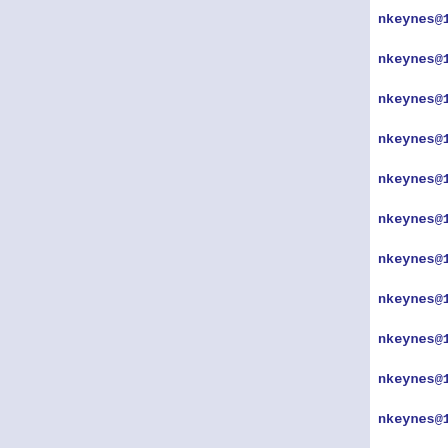nkeynes@1217  1395    switch(entryN
nkeynes@1217  1396    case -1:
nkeynes@1217  1397        RAISE_TLB
nkeynes@1217  1398        return NU
nkeynes@1217  1399    case -2:
nkeynes@1217  1400        RAISE_TLB
nkeynes@1217  1401        return NU
nkeynes@1217  1402    default:
nkeynes@1217  1403        if( IS_SH
nkeynes@1217  1404                  :
nkeynes@1217  1405        /* pr